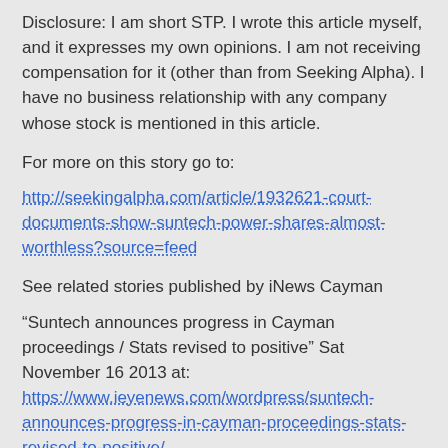Disclosure: I am short STP. I wrote this article myself, and it expresses my own opinions. I am not receiving compensation for it (other than from Seeking Alpha). I have no business relationship with any company whose stock is mentioned in this article.
For more on this story go to:
http://seekingalpha.com/article/1932621-court-documents-show-suntech-power-shares-almost-worthless?source=feed
See related stories published by iNews Cayman
“Suntech announces progress in Cayman proceedings / Stats revised to positive” Sat November 16 2013 at: https://www.ieyenews.com/wordpress/suntech-announces-progress-in-cayman-proceedings-stats-revised-to-positive/